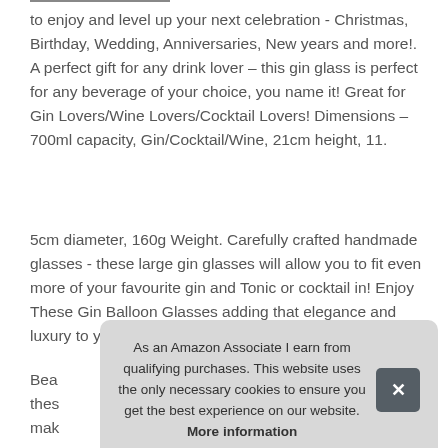to enjoy and level up your next celebration - Christmas, Birthday, Wedding, Anniversaries, New years and more!. A perfect gift for any drink lover – this gin glass is perfect for any beverage of your choice, you name it! Great for Gin Lovers/Wine Lovers/Cocktail Lovers! Dimensions – 700ml capacity, Gin/Cocktail/Wine, 21cm height, 11.
5cm diameter, 160g Weight. Carefully crafted handmade glasses - these large gin glasses will allow you to fit even more of your favourite gin and Tonic or cocktail in! Enjoy These Gin Balloon Glasses adding that elegance and luxury to your drinking experience and barware.
Bea these mak
As an Amazon Associate I earn from qualifying purchases. This website uses the only necessary cookies to ensure you get the best experience on our website. More information